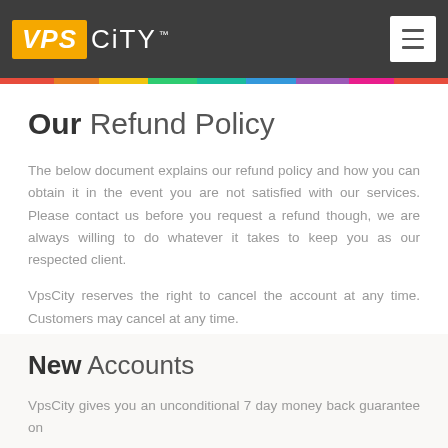VPS CITY™ [logo with hamburger menu]
Our Refund Policy
The below document explains our refund policy and how you can obtain it in the event you are not satisfied with our services. Please contact us before you request a refund though, we are always willing to do whatever it takes to keep you as our respected client.
VpsCity reserves the right to cancel the account at any time. Customers may cancel at any time.
New Accounts
VpsCity gives you an unconditional 7 day money back guarantee on